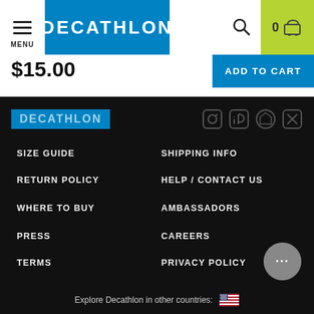[Figure (screenshot): Decathlon website header with hamburger menu, Decathlon logo on blue background, search icon, cart with 0 items on green background]
$15.00
ADD TO CART
[Figure (logo): Decathlon logo on blue background in footer area, with social media icons]
SIZE GUIDE
SHIPPING INFO
RETURN POLICY
HELP / CONTACT US
WHERE TO BUY
AMBASSADORS
PRESS
CAREERS
TERMS
PRIVACY POLICY
PRODUCT RECALLS
SUPPLY CHAIN DISCLOSURE
DECATHLON ACCESSIBILITY STATEMENT
Explore Decathlon in other countries: